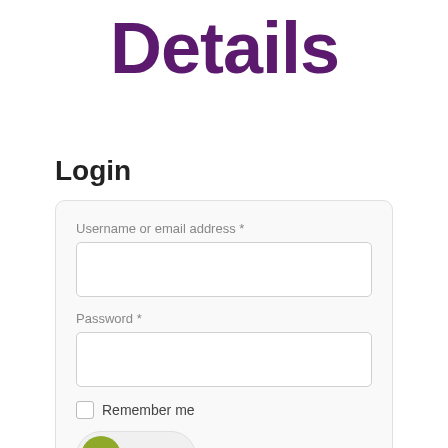Details
Login
Username or email address *
Password *
Remember me
Login